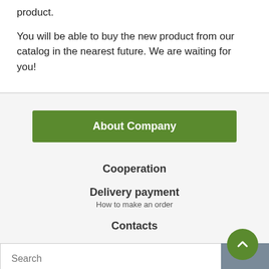product.
You will be able to buy the new product from our catalog in the nearest future. We are waiting for you!
About Company
Cooperation
Delivery payment
How to make an order
Contacts